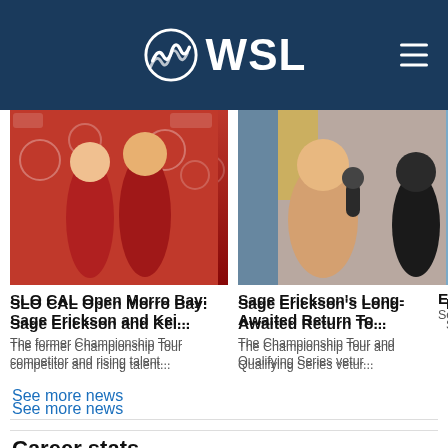WSL
[Figure (photo): Two surfers in red shirts posing at SLO CAL Open Morro Bay event backdrop]
SLO CAL Open Morro Bay: Sage Erickson and Kei...
The former Championship Tour competitor and rising talent...
[Figure (photo): Sage Erickson being interviewed with a microphone at an event]
Sage Erickson's Long-Awaited Return To...
The Championship Tour and Qualifying Series vetur...
[Figure (photo): Partially visible third news card image]
Es...
Se
See more news
Career stats
Women's Championship Tour